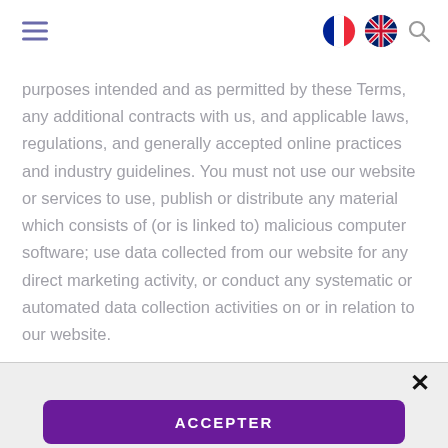Navigation bar with hamburger menu, French flag, UK flag, and search icon
purposes intended and as permitted by these Terms, any additional contracts with us, and applicable laws, regulations, and generally accepted online practices and industry guidelines. You must not use our website or services to use, publish or distribute any material which consists of (or is linked to) malicious computer software; use data collected from our website for any direct marketing activity, or conduct any systematic or automated data collection activities on or in relation to our website.
Engaging in any activity that causes, or may cause, damage to
✕
ACCEPTER